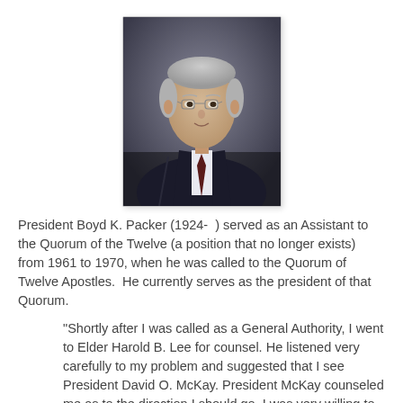[Figure (photo): Formal portrait photograph of President Boyd K. Packer, an elderly man with gray hair and glasses, wearing a dark suit with a dark red tie, against a gray background.]
President Boyd K. Packer (1924- ) served as an Assistant to the Quorum of the Twelve (a position that no longer exists) from 1961 to 1970, when he was called to the Quorum of Twelve Apostles.  He currently serves as the president of that Quorum.
"Shortly after I was called as a General Authority, I went to Elder Harold B. Lee for counsel. He listened very carefully to my problem and suggested that I see President David O. McKay. President McKay counseled me as to the direction I should go. I was very willing to be